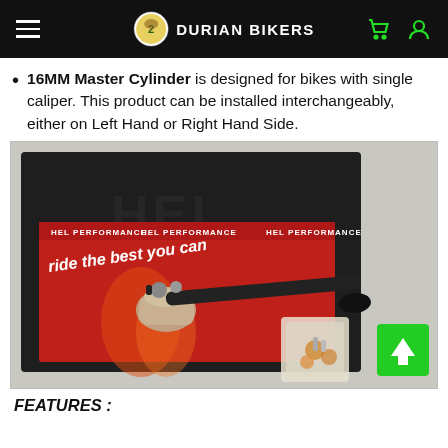DURIAN BIKERS
16MM Master Cylinder is designed for bikes with single caliper. This product can be installed interchangeably, either on Left Hand or Right Hand Side.
[Figure (photo): HEL Performance master cylinder brake lever product displayed in open red branded box labeled 'HEL PERFORMANCE – ride the best you can', with hardware accessories bag visible beside the box, on a light grey surface.]
FEATURES :